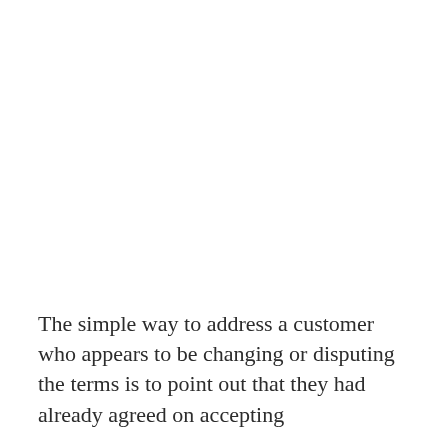The simple way to address a customer who appears to be changing or disputing the terms is to point out that they had already agreed on accepting